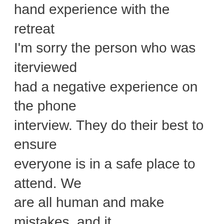hand experience with the retreat I'm sorry the person who was iterviewed had a negative experience on the phone interview. They do their best to ensure everyone is in a safe place to attend. We are all human and make mistakes, and it sounds like the TYF person who talked to the interviewee certainly did make some, and I can imagine how triggering that was for her. I wish I could go back... I'm urging the other women in my family go because they deserve to have the healing